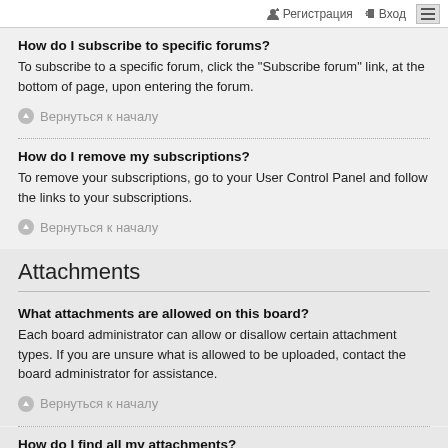Регистрация  Вход
How do I subscribe to specific forums?
To subscribe to a specific forum, click the "Subscribe forum" link, at the bottom of page, upon entering the forum.
Вернуться к началу
How do I remove my subscriptions?
To remove your subscriptions, go to your User Control Panel and follow the links to your subscriptions.
Вернуться к началу
Attachments
What attachments are allowed on this board?
Each board administrator can allow or disallow certain attachment types. If you are unsure what is allowed to be uploaded, contact the board administrator for assistance.
Вернуться к началу
How do I find all my attachments?
To find your list of attachments that you have uploaded, go to your User